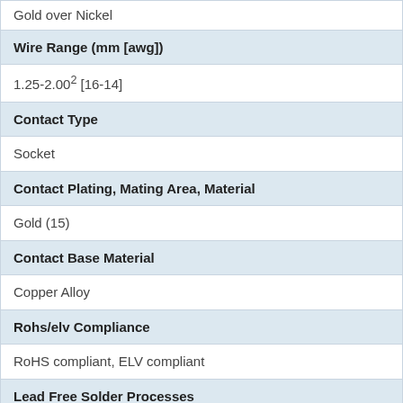| Property | Value |
| --- | --- |
| Gold over Nickel |  |
| Wire Range (mm [awg]) |  |
| 1.25-2.00² [16-14] |  |
| Contact Type |  |
| Socket |  |
| Contact Plating, Mating Area, Material |  |
| Gold (15) |  |
| Contact Base Material |  |
| Copper Alloy |  |
| Rohs/elv Compliance |  |
| RoHS compliant, ELV compliant |  |
| Lead Free Solder Processes |  |
| Not relevant for lead free process |  |
| Rohs/elv Compliance History |  |
| Always was RoHS compliant |  |
| Wire Range Mark |  |